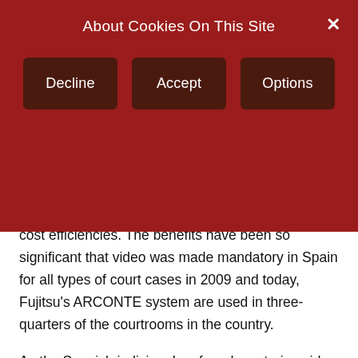About Cookies On This Site
Decline  Accept  Options
cost efficiencies. The benefits have been so significant that video was made mandatory in Spain for all types of court cases in 2009 and today, Fujitsu's ARCONTE system are used in three-quarters of the courtrooms in the country.
As the Spanish judiciary has found, capturing video is a powerful tool for criminal trials. Unlike the content captured manually by court stenographers, videos also capture witnesses' and defendants' facial expressions and body language. Witnesses or vulnerable defendants are more easily protected